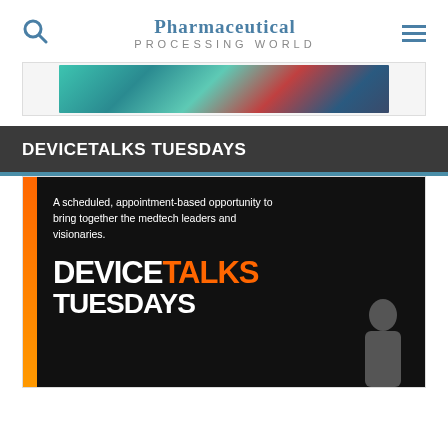Pharmaceutical Processing World
[Figure (photo): Decorative banner image with teal/green colors]
DEVICETALKS TUESDAYS
[Figure (infographic): DeviceTalks Tuesdays promotional image. Text reads: A scheduled, appointment-based opportunity to bring together the medtech leaders and visionaries. DEVICE TALKS TUESDAYS. Shows a person silhouette.]